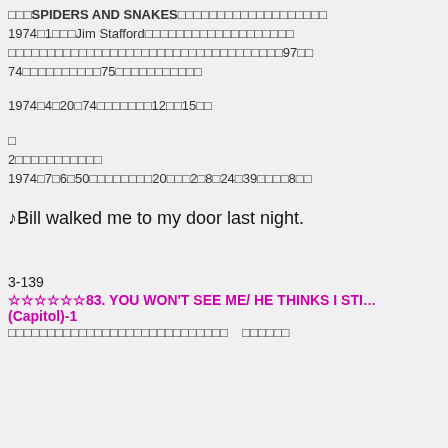□□□SPIDERS AND SNAKES□□□□□□□□□□□□□□□□□□□ 1974□1□□□Jim Stafford□□□□□□□□□□□□□□□□□□□ □□□□□□□□□□□□□□□□□□□□□□□□□□□□□□□□□□□97□□ 74□□□□□□□□□□75□□□□□□□□□□□
1974□4□20□74□□□□□□□12□□15□□
□
2□□□□□□□□□□□
1974□7□6□50□□□□□□□□20□□□2□8□24□39□□□□8□□
♪Bill walked me to my door last night.
3-139
☆☆☆☆☆☆83. YOU WON'T SEE ME/ HE THINKS I STI… (Capitol)-1
□□□□□□□□□□□□□□□□□□□□□□□□□□□□   □□□□□□